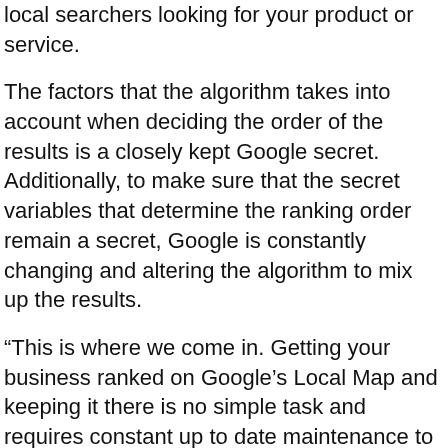local searchers looking for your product or service.
The factors that the algorithm takes into account when deciding the order of the results is a closely kept Google secret. Additionally, to make sure that the secret variables that determine the ranking order remain a secret, Google is constantly changing and altering the algorithm to mix up the results.
“This is where we come in. Getting your business ranked on Google’s Local Map and keeping it there is no simple task and requires constant up to date maintenance to counteract the changes that Google is constantly making.”
Google Maps Optimization is one of the biggest things to happen in the Search Engine Optimization and Internet Marketing Industry. It has revolutionized the way small and medium-sized local businesses can reach their local market